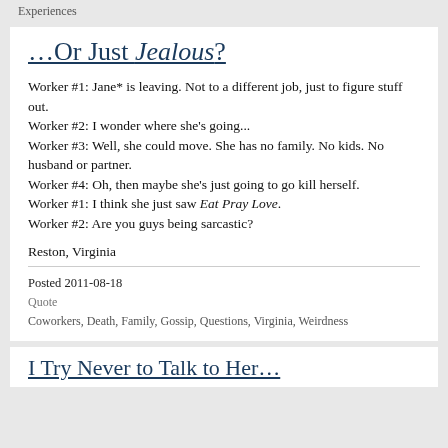Experiences
…Or Just Jealous?
Worker #1: Jane* is leaving. Not to a different job, just to figure stuff out.
Worker #2: I wonder where she's going...
Worker #3: Well, she could move. She has no family. No kids. No husband or partner.
Worker #4: Oh, then maybe she's just going to go kill herself.
Worker #1: I think she just saw Eat Pray Love.
Worker #2: Are you guys being sarcastic?
Reston, Virginia
Posted 2011-08-18
Quote
Coworkers, Death, Family, Gossip, Questions, Virginia, Weirdness
I Try Never to Talk to Her…